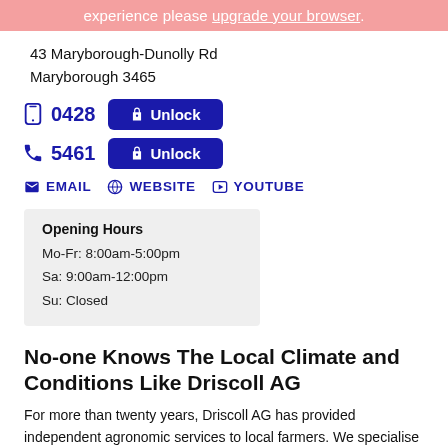experience please upgrade your browser.
43 Maryborough-Dunolly Rd
Maryborough 3465
0428  [Unlock]
5461  [Unlock]
EMAIL   WEBSITE   YOUTUBE
Opening Hours
Mo-Fr: 8:00am-5:00pm
Sa: 9:00am-12:00pm
Su: Closed
No-one Knows The Local Climate and Conditions Like Driscoll AG
For more than twenty years, Driscoll AG has provided independent agronomic services to local farmers. We specialise in agronomy services, crop protection, pasture and broadacre seed, fertiliser and grain accumulation. It is our passion to help